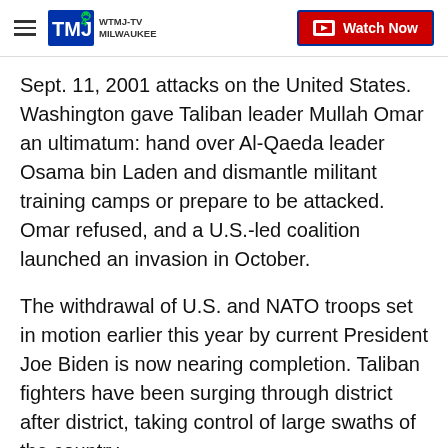WTMJ-TV MILWAUKEE | Watch Now
Sept. 11, 2001 attacks on the United States. Washington gave Taliban leader Mullah Omar an ultimatum: hand over Al-Qaeda leader Osama bin Laden and dismantle militant training camps or prepare to be attacked. Omar refused, and a U.S.-led coalition launched an invasion in October.
The withdrawal of U.S. and NATO troops set in motion earlier this year by current President Joe Biden is now nearing completion. Taliban fighters have been surging through district after district, taking control of large swaths of the country.
In the DW interview, which marked outgoing German